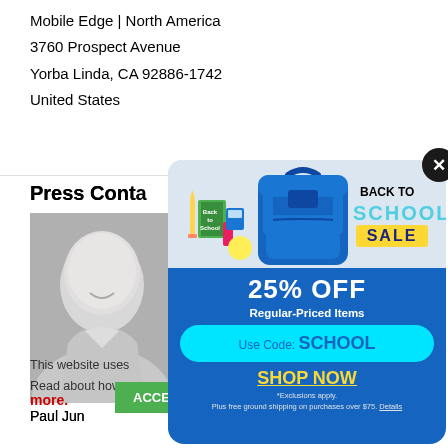Mobile Edge | North America
3760 Prospect Avenue
Yorba Linda, CA 92886-1742
United States
Press Conta
[Figure (photo): Grayscale headshot photo of a man smiling, wearing a light-colored shirt]
Paul June
This website uses  Read about how w
more.
[Figure (infographic): Back to School Sale popup advertisement showing a blue backpack with school supplies, '25% OFF Regular-Priced Items', 'Use Code: SCHOOL', 'SHOP NOW', with exclusions note and free shipping over $75 offer]